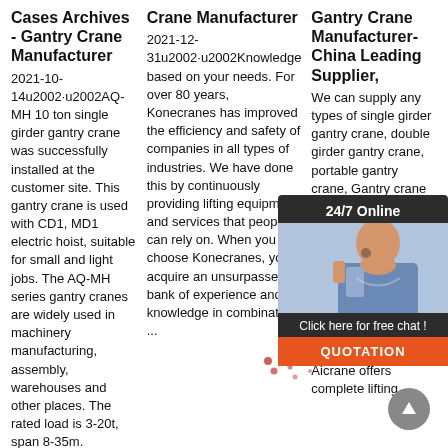Cases Archives - Gantry Crane Manufacturer
2021-10-14u2002·u2002AQ-MH 10 ton single girder gantry crane was successfully installed at the customer site. This gantry crane is used with CD1, MD1 electric hoist, suitable for small and light jobs. The AQ-MH series gantry cranes are widely used in machinery manufacturing, assembly, warehouses and other places. The rated load is 3-20t, span 8-35m.
Crane Manufacturer
2021-12-31u2002·u2002Knowledge based on your needs. For over 80 years, Konecranes has improved the efficiency and safety of companies in all types of industries. We have done this by continuously providing lifting equipment and services that people can rely on. When you choose Konecranes, you acquire an unsurpassed bank of experience and knowledge in combination ...
Gantry Crane Manufacturer- China Leading Supplier,
We can supply any types of single girder gantry crane, double girder gantry crane, portable gantry crane, Gantry crane for various applications available for a variety of applications. from 2 ton small portable gantry cranes to lift an engine block to 800T gantry crane lifting entire bo Aicrane offers complete lifting
[Figure (photo): Chat widget showing a customer service agent photo with '24/7 Online' label, 'Click here for free chat!' text, and an orange QUOTATION button]